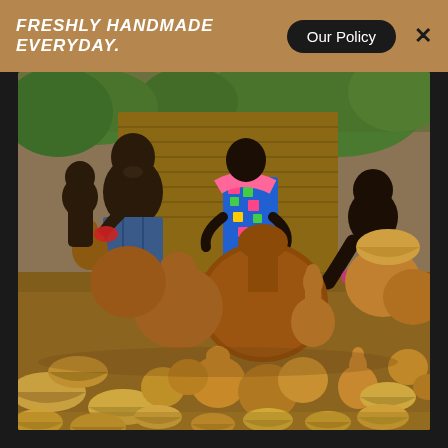FRESHLY HANDMADE EVERYDAY.
[Figure (photo): A family of African artisans surrounded by a large collection of handmade gourd vessels, bowls, and calabash crafts. A man in traditional cloth sits holding a gourd, with a young child beside him. A woman in colorful African print dress stands smiling behind the display. A young boy sits smiling on the right side. The ground is covered with dozens of brown and golden calabash bowls and vases of various sizes.]